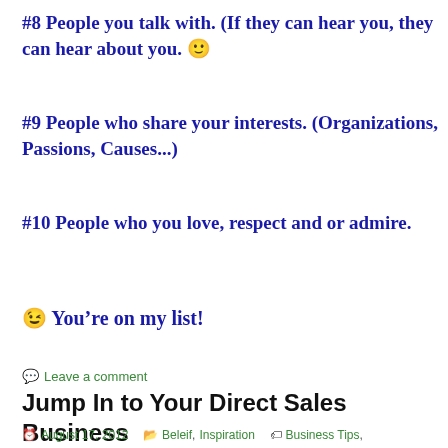#8 People you talk with. (If they can hear you, they can hear about you. 🙂
#9 People who share your interests. (Organizations, Passions, Causes...)
#10 People who you love, respect and or admire.
😉 You're on my list!
Leave a comment
Jump In to Your Direct Sales Business
August 17, 2012   Beleif, Inspiration   Business Tips,